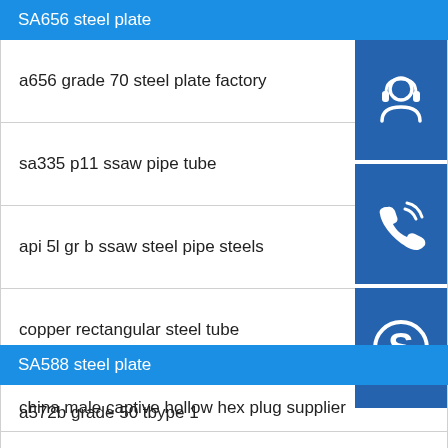SA656 steel plate
a656 grade 70 steel plate factory
sa335 p11 ssaw pipe tube
api 5l gr b ssaw steel pipe steels
copper rectangular steel tube
a572b grade 50 tbype 1
hot sale astm a240 304 1 5mm thick stainless plate
[Figure (illustration): Three icons in blue boxes: headset/customer service icon, phone with signal waves icon, and Skype logo icon]
SA588 steel plate
china male captive hollow hex plug supplier